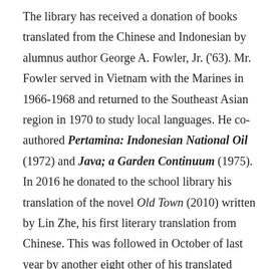The library has received a donation of books translated from the Chinese and Indonesian by alumnus author George A. Fowler, Jr. ('63). Mr. Fowler served in Vietnam with the Marines in 1966-1968 and returned to the Southeast Asian region in 1970 to study local languages. He co-authored Pertamina: Indonesian National Oil (1972) and Java; a Garden Continuum (1975). In 2016 he donated to the school library his translation of the novel Old Town (2010) written by Lin Zhe, his first literary translation from Chinese. This was followed in October of last year by another eight other of his translated works from both Chinese and Indonesian, The Golden Road: A Novel of Xiaoping Era China by Zhang Da-Peng, (2012), The Rose Of Cikembang by Kwee Tek-Hoay (2012), Life under Mao Zedong's Rule by Zhang Da-Peng (2013), The Garden Of Delights & Other Tales by Azhari (2015), What's Left And Other Poems by Taufik Uran...